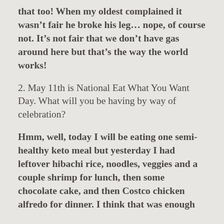that too! When my oldest complained it wasn't fair he broke his leg... nope, of course not. It's not fair that we don't have gas around here but that's the way the world works!
2. May 11th is National Eat What You Want Day. What will you be having by way of celebration?
Hmm, well, today I will be eating one semi-healthy keto meal but yesterday I had leftover hibachi rice, noodles, veggies and a couple shrimp for lunch, then some chocolate cake, and then Costco chicken alfredo for dinner. I think that was enough cheating for me!